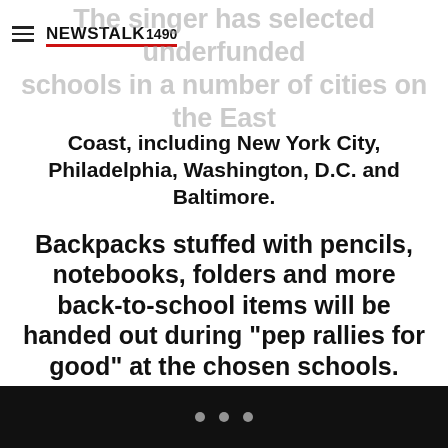NEWS TALK 1490
The singer has selected underfunded schools in a number of cities on the East Coast, including New York City, Philadelphia, Washington, D.C. and Baltimore.
Backpacks stuffed with pencils, notebooks, folders and more back-to-school items will be handed out during “pep rallies for good” at the chosen schools.
Read more: Jay-Z, Beyonce Not Given Enough Credit For ‘Social Responsibility’? [VIDEO]